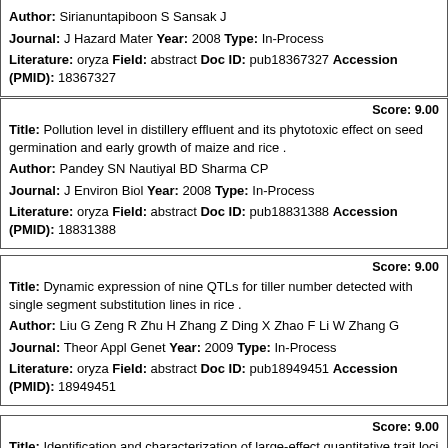Author: Sirianuntapiboon S Sansak J
Journal: J Hazard Mater Year: 2008 Type: In-Process
Literature: oryza Field: abstract Doc ID: pub18367327 Accession (PMID): 18367327
Score: 9.00
Title: Pollution level in distillery effluent and its phytotoxic effect on seed germination and early growth of maize and rice .
Author: Pandey SN Nautiyal BD Sharma CP
Journal: J Environ Biol Year: 2008 Type: In-Process
Literature: oryza Field: abstract Doc ID: pub18831388 Accession (PMID): 18831388
Score: 9.00
Title: Dynamic expression of nine QTLs for tiller number detected with single segment substitution lines in rice .
Author: Liu G Zeng R Zhu H Zhang Z Ding X Zhao F Li W Zhang G
Journal: Theor Appl Genet Year: 2009 Type: In-Process
Literature: oryza Field: abstract Doc ID: pub18949451 Accession (PMID): 18949451
Score: 9.00
Title: Identification and characterization of large-effect quantitative trait loci for grain yield under lowland drought stress in rice using bulk-segregant analysis .
Author: Venuprasad R Dalid CO Del Valle M Zhao D Espiritu M Sta Cruz MT Amante M Kumar A Atlin GN